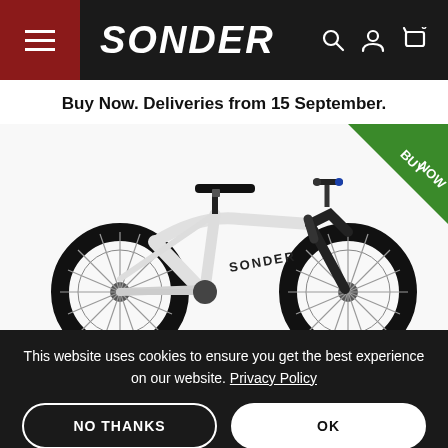SONDER — navigation bar with hamburger menu, logo, search, account, and cart icons
Buy Now. Deliveries from 15 September.
[Figure (photo): White Sonder mountain bike with black tires, black saddle and fork, photographed from the side. A green triangular 'BUY NOW' badge is overlaid in the top-right corner of the image.]
This website uses cookies to ensure you get the best experience on our website. Privacy Policy
NO THANKS
OK